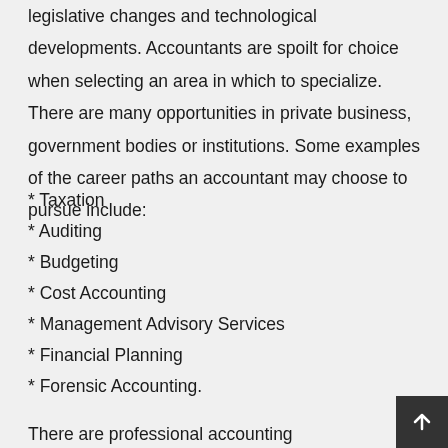legislative changes and technological developments. Accountants are spoilt for choice when selecting an area in which to specialize. There are many opportunities in private business, government bodies or institutions. Some examples of the career paths an accountant may choose to pursue include:
* Taxation
* Auditing
* Budgeting
* Cost Accounting
* Management Advisory Services
* Financial Planning
* Forensic Accounting.
There are professional accounting associations